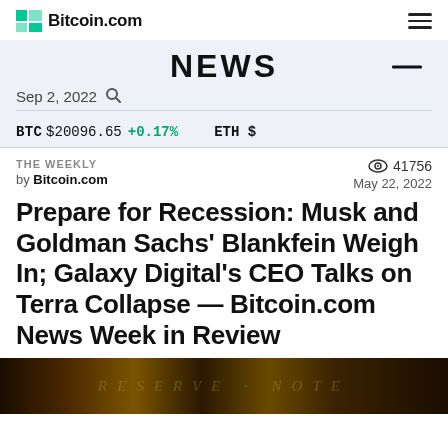Bitcoin.com
NEWS
Sep 2, 2022
BTC $20096.65 +0.17%   ETH $
THE WEEKLY
by Bitcoin.com
41756
May 22, 2022
Prepare for Recession: Musk and Goldman Sachs' Blankfein Weigh In; Galaxy Digital's CEO Talks on Terra Collapse — Bitcoin.com News Week in Review
[Figure (photo): Dark image of currency/money with partial text visible, used as article hero image at bottom of page]